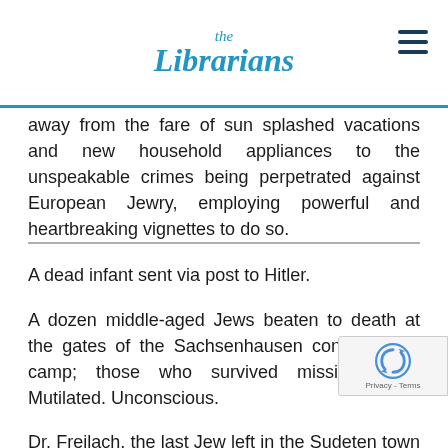the Librarians
away from the fare of sun splashed vacations and new household appliances to the unspeakable crimes being perpetrated against European Jewry, employing powerful and heartbreaking vignettes to do so.
A dead infant sent via post to Hitler.
A dozen middle-aged Jews beaten to death at the gates of the Sachsenhausen concentration camp; those who survived missing eyes. Mutilated. Unconscious.
Dr. Freilach, the last Jew left in the Sudeten town of Hohenstadt. Everyone else had fled following the Munich Agreement, which gave the Nazis control over Hohenstadt, where his family had lived for generations. Too old to start a new life elsewhere, he had decided to stay, looking after the synagogue, now his own personal house of prayer. Th forced the elderly man to burn it to the ground with hands. Dr. Freilach went home and killed himself before his